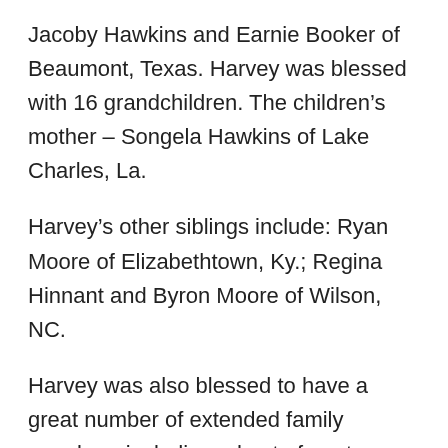Jacoby Hawkins and Earnie Booker of Beaumont, Texas. Harvey was blessed with 16 grandchildren. The children's mother – Songela Hawkins of Lake Charles, La.
Harvey's other siblings include: Ryan Moore of Elizabethtown, Ky.; Regina Hinnant and Byron Moore of Wilson, NC.
Harvey was also blessed to have a great number of extended family members including a host of aunts, uncles, nieces, nephews, and cousins.
Harvey was blessed with a host of friends, but there are five that can be counted as his very good